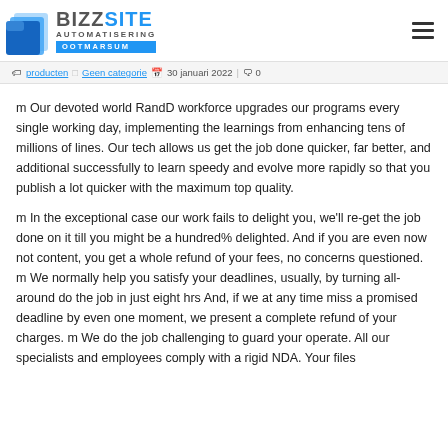BIZZSITE AUTOMATISERING OOTMARSUM
producten  Geen categorie  30 januari 2022 | 0
m Our devoted world RandD workforce upgrades our programs every single working day, implementing the learnings from enhancing tens of millions of lines. Our tech allows us get the job done quicker, far better, and additional successfully to learn speedy and evolve more rapidly so that you publish a lot quicker with the maximum top quality.
m In the exceptional case our work fails to delight you, we'll re-get the job done on it till you might be a hundred% delighted. And if you are even now not content, you get a whole refund of your fees, no concerns questioned. m We normally help you satisfy your deadlines, usually, by turning all-around do the job in just eight hrs And, if we at any time miss a promised deadline by even one moment, we present a complete refund of your charges. m We do the job challenging to guard your operate. All our specialists and employees comply with a rigid NDA. Your files